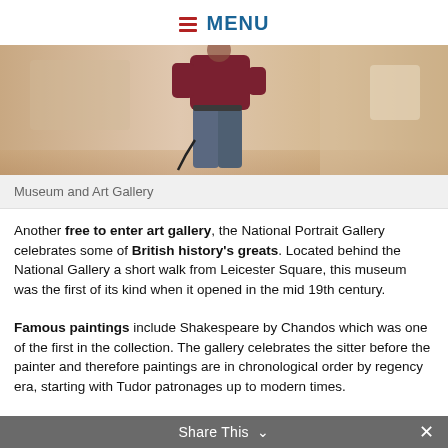MENU
[Figure (photo): A person standing in a museum or art gallery, viewed from behind, wearing a dark red/maroon top and jeans, holding a cable/strap, with blurred gallery walls in the background.]
Museum and Art Gallery
Another free to enter art gallery, the National Portrait Gallery celebrates some of British history's greats. Located behind the National Gallery a short walk from Leicester Square, this museum was the first of its kind when it opened in the mid 19th century.
Famous paintings include Shakespeare by Chandos which was one of the first in the collection. The gallery celebrates the sitter before the painter and therefore paintings are in chronological order by regency era, starting with Tudor patronages up to modern times.
Share This ×